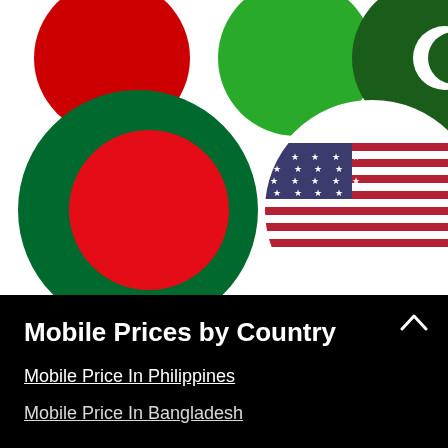[Figure (illustration): Country flag circles: partial red circle (top-left), partial green circle (top-center), partial dark green/white crescent circle (top-right), Bangladesh flag circle (green border with red center), USA flag circle (stars and stripes)]
Mobile Prices by Country
Mobile Price In Philippines
Mobile Price In Bangladesh